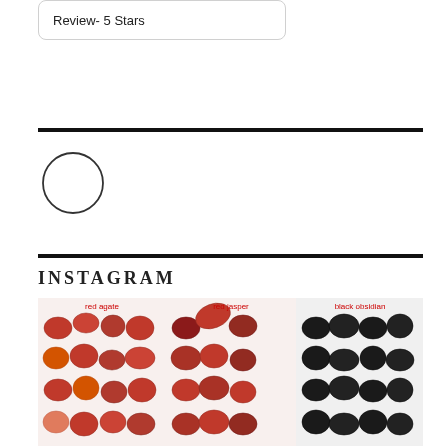Review- 5 Stars
[Figure (illustration): Empty circle/ring outline]
INSTAGRAM
[Figure (photo): Three groups of rune stones: red agate (left), red jasper (center), black obsidian (right), arranged in rows on white background]